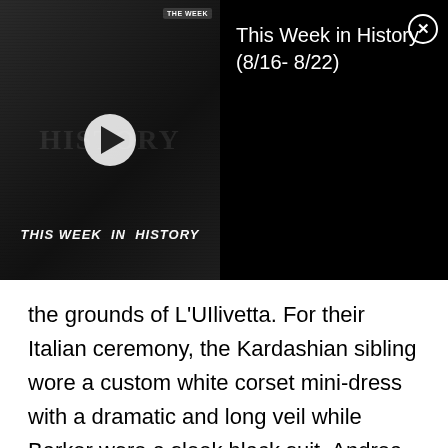[Figure (screenshot): Video thumbnail for 'This Week in History (8/16–8/22)' showing a dark background with 'THIS WEEK IN HISTORY' text and a play button, alongside a black info panel with the title and a close button.]
the grounds of L'UIlivetta. For their Italian ceremony, the Kardashian sibling wore a custom white corset mini-dress with a dramatic and long veil while Barker wore a sleek black suit. Andrea Bocelli and her son, Matteo performed songs 'Can't help Falling in Love' and 'Fall on Me' at the wedding. Also present for the ceremony were the couple's six total children, as well as Kourtney's world-famous family. The celebrations are said to have taken